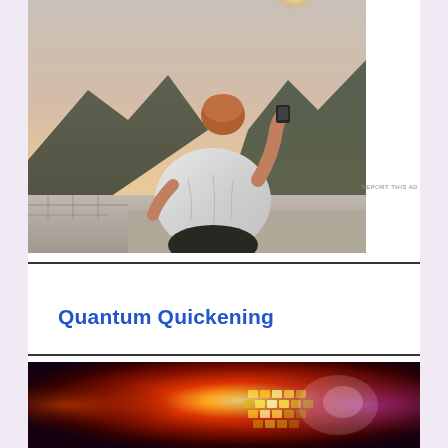[Figure (photo): Person seen from behind, sitting on a wall or ledge, holding up a phone or camera toward a sunset sky with mountains in the background.]
REPORT THIS AD
Quantum Quickening
[Figure (photo): Colorful blurred image resembling a disco ball or decorative sphere with grid-like reflective tiles in red, orange, yellow, and gold tones against a dark background.]